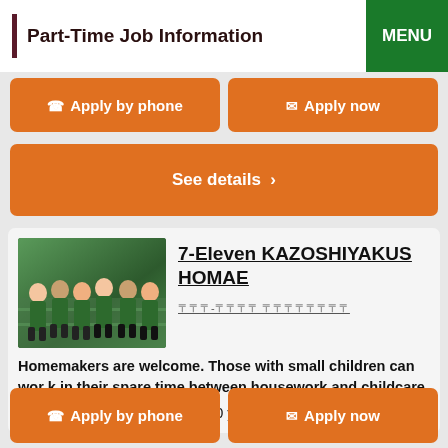Part-Time Job Information
Apply by phone
Apply now
See details >
7-Eleven KAZOSHIYAKUSHOMAE
000-0000 00000000
Homemakers are welcome. Those with small children can work in their spare time between housework and childcare.
Salary：Hourly pay from 1,000 yen
Apply by phone
Apply now